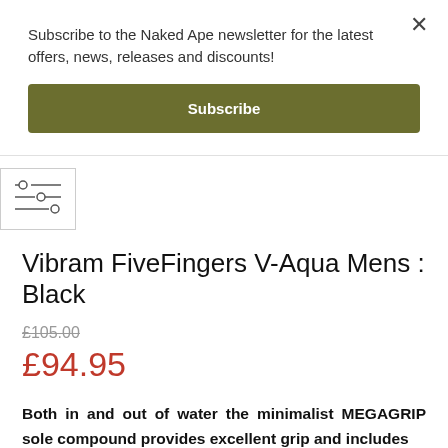Subscribe to the Naked Ape newsletter for the latest offers, news, releases and discounts!
Subscribe
[Figure (other): Filter/sort icon with three horizontal lines and circular controls]
Vibram FiveFingers V-Aqua Mens : Black
£105.00
£94.95
Both in and out of water the minimalist MEGAGRIP sole compound provides excellent grip and includes